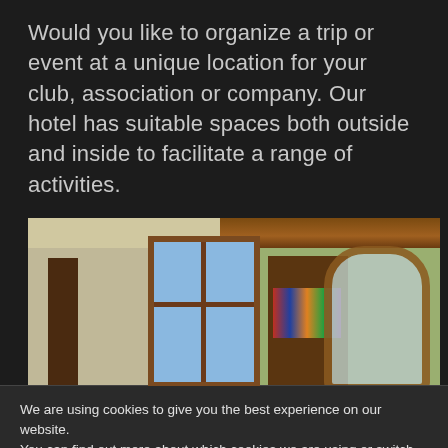Would you like to organize a trip or event at a unique location for your club, association or company. Our hotel has suitable spaces both outside and inside to facilitate a range of activities.
[Figure (photo): Interior photo of a hotel room showing wooden windows with blue sky visible, bookshelves with books, a decorative wooden-framed mirror, and a wooden ceiling beam on a green-painted wall.]
We are using cookies to give you the best experience on our website.
You can find out more about which cookies we are using or switch them off in settings.